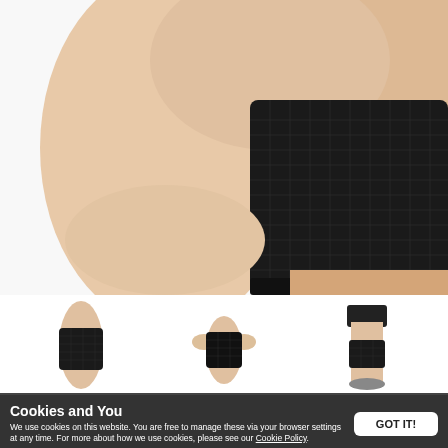[Figure (photo): Close-up photo of a person's knee wearing a black compression knee brace/sleeve on a white background]
[Figure (photo): Three thumbnail images of a black knee brace: left shows side view on leg, center shows person holding brace, right shows full leg with brace worn]
Cookies and You
We use cookies on this website. You are free to manage these via your browser settings at any time. For more about how we use cookies, please see our Cookie Policy.
GOT IT!
Effective support for strains, sprains and